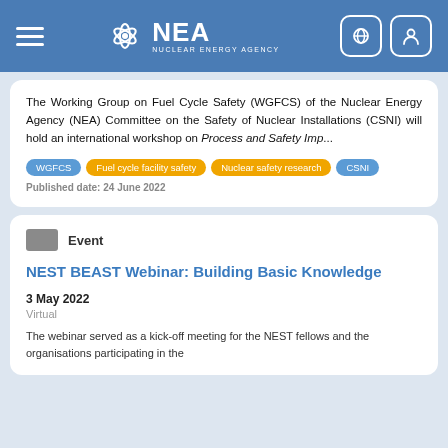[Figure (screenshot): NEA Nuclear Energy Agency navigation bar with hamburger menu, NEA logo, globe icon and user icon on blue background]
The Working Group on Fuel Cycle Safety (WGFCS) of the Nuclear Energy Agency (NEA) Committee on the Safety of Nuclear Installations (CSNI) will hold an international workshop on Process and Safety Imp...
WGFCS
Fuel cycle facility safety
Nuclear safety research
CSNI
Published date: 24 June 2022
Event
NEST BEAST Webinar: Building Basic Knowledge
3 May 2022
Virtual
The webinar served as a kick-off meeting for the NEST fellows and the organisations participating in the